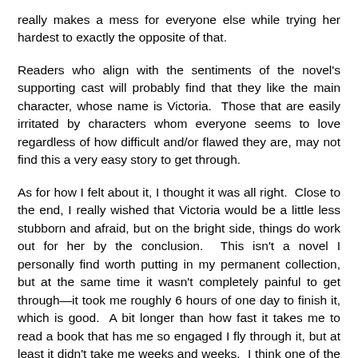really makes a mess for everyone else while trying her hardest to exactly the opposite of that.
Readers who align with the sentiments of the novel's supporting cast will probably find that they like the main character, whose name is Victoria.  Those that are easily irritated by characters whom everyone seems to love regardless of how difficult and/or flawed they are, may not find this a very easy story to get through.
As for how I felt about it, I thought it was all right.  Close to the end, I really wished that Victoria would be a little less stubborn and afraid, but on the bright side, things do work out for her by the conclusion.  This isn't a novel I personally find worth putting in my permanent collection, but at the same time it wasn't completely painful to get through—it took me roughly 6 hours of one day to finish it, which is good.  A bit longer than how fast it takes me to read a book that has me so engaged I fly through it, but at least it didn't take me weeks and weeks.  I think one of the Harry Potter books I read took me several months to complete, and I only did so because I was stubborn and wanted to finish the series, even if I wasn't really interested in it anymore.